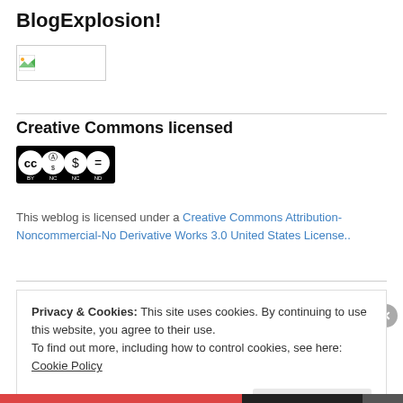BlogExplosion!
[Figure (illustration): Broken image placeholder with small icon in upper-left corner]
Creative Commons licensed
[Figure (logo): Creative Commons BY-NC-ND license badge with CC, person, dollar-sign-circle, and minus-circle icons, labeled BY NC ND]
This weblog is licensed under a Creative Commons Attribution-Noncommercial-No Derivative Works 3.0 United States License..
Privacy & Cookies: This site uses cookies. By continuing to use this website, you agree to their use.
To find out more, including how to control cookies, see here: Cookie Policy
Close and accept